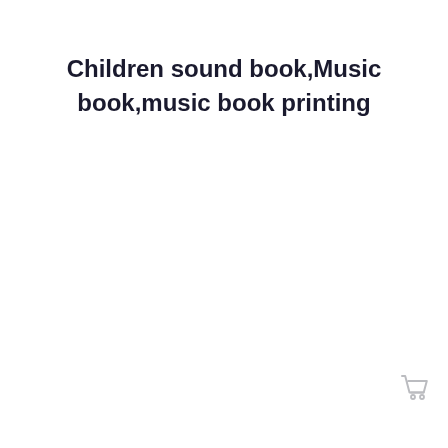Children sound book,Music book,music book printing
[Figure (other): Shopping cart icon in light gray, located in the lower right area of the page]